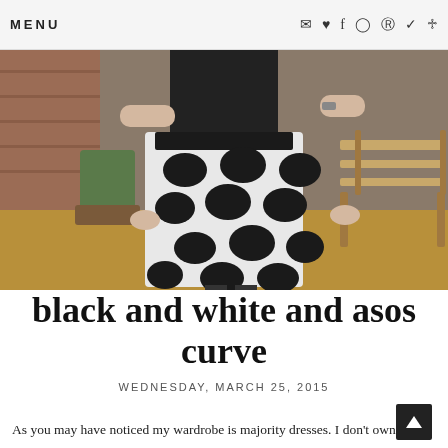MENU
[Figure (photo): Person wearing a white skirt with large black polka dots, standing in a garden with a wooden bench and brick wall in the background.]
black and white and asos curve
WEDNESDAY, MARCH 25, 2015
As you may have noticed my wardrobe is majority dresses. I don't own a lot